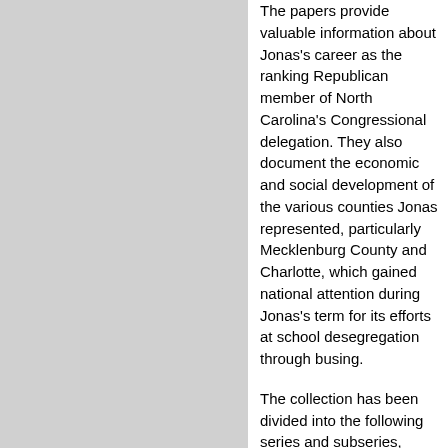The papers provide valuable information about Jonas's career as the ranking Republican member of North Carolina's Congressional delegation. They also document the economic and social development of the various counties Jonas represented, particularly Mecklenburg County and Charlotte, which gained national attention during Jonas's term for its efforts at school desegregation through busing.
The collection has been divided into the following series and subseries, which reflect both Jonas's